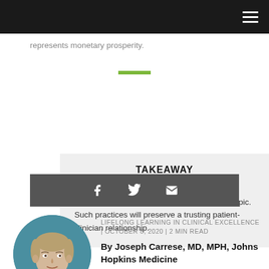represents monetary prosperity.
TAKEAWAY
Unless patients initiate the discussion about philanthropy, it's wise to be cautious on this topic. Such practices will preserve a trusting patient-clinician relationship.
[Figure (other): Social share icons bar with Facebook, Twitter, and email icons on dark grey background]
[Figure (photo): Headshot photo of Joseph Carrese, MD, MPH in an oval/circle frame with teal background]
LIFELONG LEARNING IN CLINICAL EXCELLENCE | OCTOBER 8, 2020 | 2 MIN READ
By Joseph Carrese, MD, MPH, Johns Hopkins Medicine